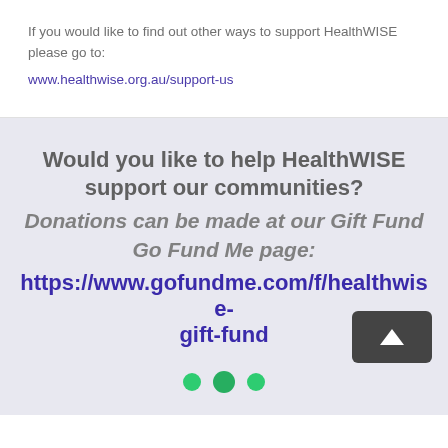If you would like to find out other ways to support HealthWISE please go to: www.healthwise.org.au/support-us
Would you like to help HealthWISE support our communities? Donations can be made at our Gift Fund Go Fund Me page: https://www.gofundme.com/f/healthwise-gift-fund